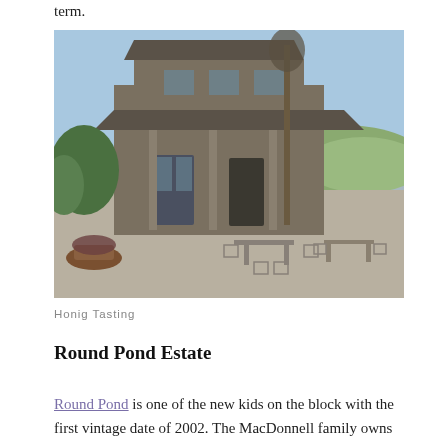term.
[Figure (photo): Exterior of Honig Tasting Room, a two-story gray wood-sided building with a covered porch, outdoor patio with metal chairs and tables, surrounded by trees and landscaping under a clear blue sky.]
Honig Tasting
Round Pond Estate
Round Pond is one of the new kids on the block with the first vintage date of 2002. The MacDonnell family owns